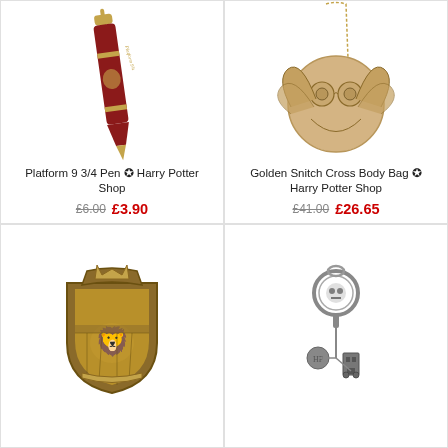[Figure (photo): Platform 9 3/4 red and gold ballpoint pen with Hogwarts crest]
Platform 9 3/4 Pen ✪ Harry Potter Shop
£6.00  £3.90
[Figure (photo): Golden Snitch cross body bag in gold/tan with wings and chain strap]
Golden Snitch Cross Body Bag ✪ Harry Potter Shop
£41.00  £26.65
[Figure (photo): Gryffindor crest metal badge/pin in antique gold]
[Figure (photo): Harry Potter metal keyring with charms in silver]